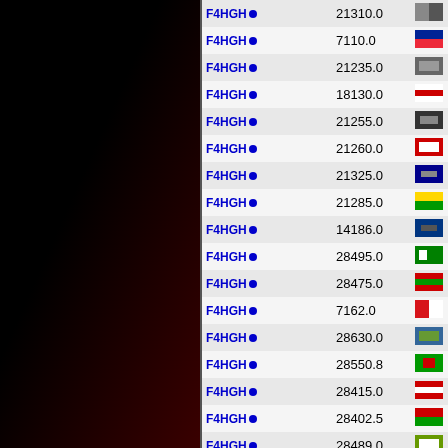| Code | Value | Flag |
| --- | --- | --- |
| F4HGH● | 21310.0 |  |
| F4HGH● | 7110.0 |  |
| F4HGH● | 21235.0 |  |
| F4HGH● | 18130.0 |  |
| F4HGH● | 21255.0 |  |
| F4HGH● | 21260.0 |  |
| F4HGH● | 21325.0 |  |
| F4HGH● | 21285.0 |  |
| F4HGH● | 14186.0 |  |
| F4HGH● | 28495.0 |  |
| F4HGH● | 28475.0 |  |
| F4HGH● | 7162.0 |  |
| F4HGH● | 28630.0 |  |
| F4HGH● | 28550.8 |  |
| F4HGH● | 28415.0 |  |
| F4HGH● | 28402.5 |  |
| F4HGH● | 28489.0 |  |
| F4HGH● | 14270.0 |  |